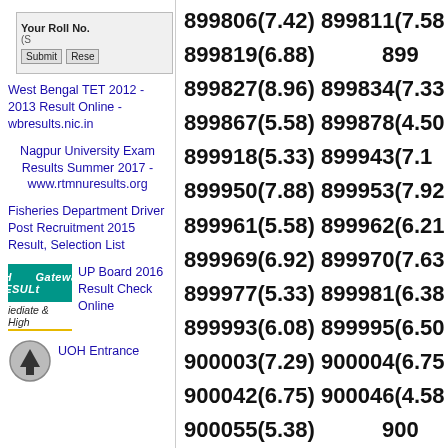[Figure (screenshot): Browser form screenshot showing 'Your Roll No.' label with a text input and Submit/Reset buttons]
West Bengal TET 2012 - 2013 Result Online - wbresults.nic.in
Nagpur University Exam Results Summer 2017 - www.rtmnuresults.org
Fisheries Department Driver Post Recruitment 2015 Result, Selection List
[Figure (screenshot): Green banner showing 'SH RESULT Gateway t...' for UP Board 2016 Result Check Online]
UP Board 2016 Result Check Online
mediate & High
[Figure (screenshot): UOH Entrance icon with upward arrow]
UOH Entrance
899806(7.42) 899811(7.58) 899819(6.88) 899... 899827(8.96) 899834(7.33) 899867(5.58) 899878(4.50) 899918(5.33) 899943(7.1) 899950(7.88) 899953(7.92) 899961(5.58) 899962(6.21) 899969(6.92) 899970(7.63) 899977(5.33) 899981(6.38) 899993(6.08) 899995(6.50) 900003(7.29) 900004(6.75) 900042(6.75) 900046(4.58) 900055(5.38) 900... 900090(6.83) 900093(7.04) 900112(8.67) 900114(8.13) 900126(7.50) 900127(6.4) 900136(8.83) 900142(6.67) 900182(6.04) 900224(8.00)